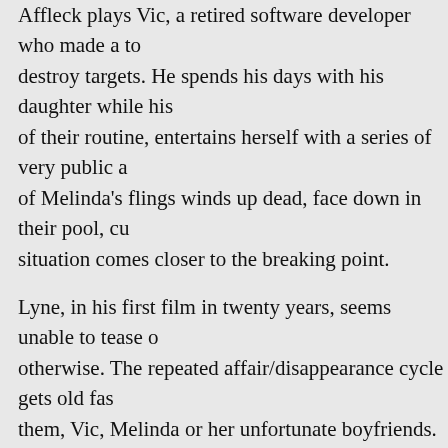Affleck plays Vic, a retired software developer who made a tool to destroy targets. He spends his days with his daughter while his of their routine, entertains herself with a series of very public a of Melinda's flings winds up dead, face down in their pool, cu situation comes closer to the breaking point.
Lyne, in his first film in twenty years, seems unable to tease o otherwise. The repeated affair/disappearance cycle gets old fas them, Vic, Melinda or her unfortunate boyfriends.
I can say that Affleck has one of the best scowls in movies, bu A Sad Affleck meme come to life, for much of the movie it ap stopped caring after the first reel. Vic should display hidden re as the film.
De Armas, so wonderful in “Knives Out” and “No Time to Die gaze.
A tepid psychosexual cuckold tale with a side of murder and lo movie that does not rise to the challenge of exploring the story
Tags: Adrian Lyne, Ana de Armas, Ben Affleck, Dash Mihok,